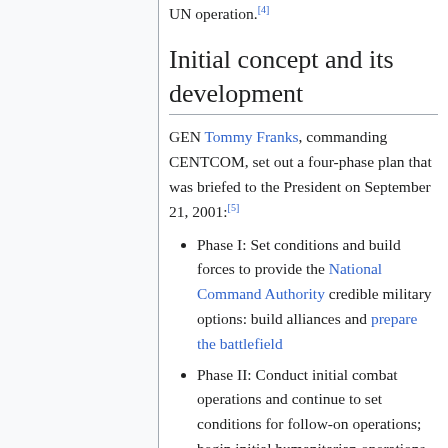UN operation.[4]
Initial concept and its development
GEN Tommy Franks, commanding CENTCOM, set out a four-phase plan that was briefed to the President on September 21, 2001:[5]
Phase I: Set conditions and build forces to provide the National Command Authority credible military options: build alliances and prepare the battlefield
Phase II: Conduct initial combat operations and continue to set conditions for follow-on operations; begin initial humanitarian operations
Phase III: Conduct major combat operations in Afghanistan, continue